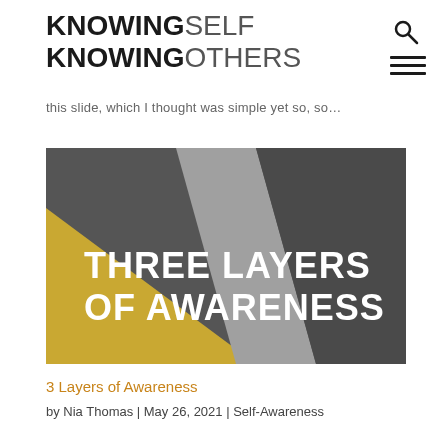KNOWING SELF KNOWING OTHERS
this slide, which I thought was simple yet so, so…
[Figure (illustration): Slide image with diagonal color bands in gold, light gray, and dark gray with white bold text reading 'THREE LAYERS OF AWARENESS']
3 Layers of Awareness
by Nia Thomas | May 26, 2021 | Self-Awareness